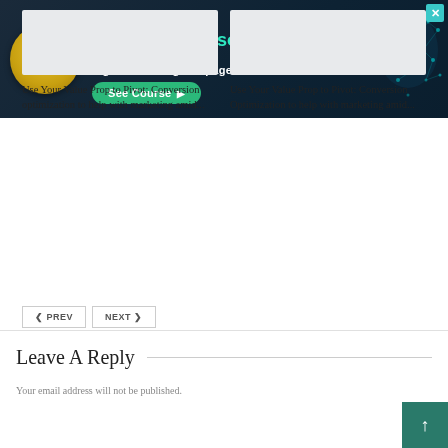[Figure (infographic): Advertisement banner: FREE Online Training - Become a Marketer-Philosopher. Create and optimize high-converting webpages. See Course button. Features a gold seal on the left and a digital brain network graphic on the right on a dark navy background.]
[Figure (photo): Article thumbnail image placeholder (light gray rectangle)]
Use Your Value Prop to Pivot: Conversion optimization to help with marketing amid...
[Figure (photo): Article thumbnail image placeholder (light gray rectangle)]
Use Your Value Prop to Pivot: Conversion Optimization to help with marketing amid...
< PREV   NEXT >
Leave A Reply
Your email address will not be published.